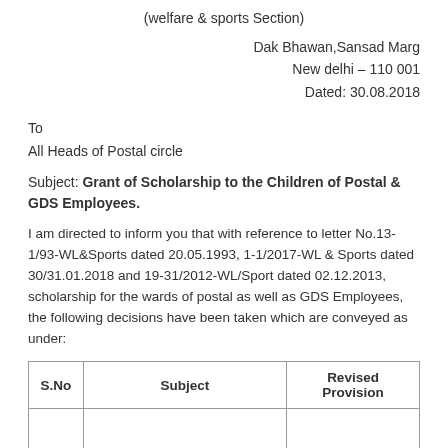(welfare & sports Section)
Dak Bhawan,Sansad Marg
New delhi – 110 001
Dated: 30.08.2018
To
All Heads of Postal circle
Subject: Grant of Scholarship to the Children of Postal & GDS Employees.
I am directed to inform you that with reference to letter No.13-1/93-WL&Sports dated 20.05.1993, 1-1/2017-WL & Sports dated 30/31.01.2018 and 19-31/2012-WL/Sport dated 02.12.2013, scholarship for the wards of postal as well as GDS Employees, the following decisions have been taken which are conveyed as under:
| S.No | Subject | Revised Provision |
| --- | --- | --- |